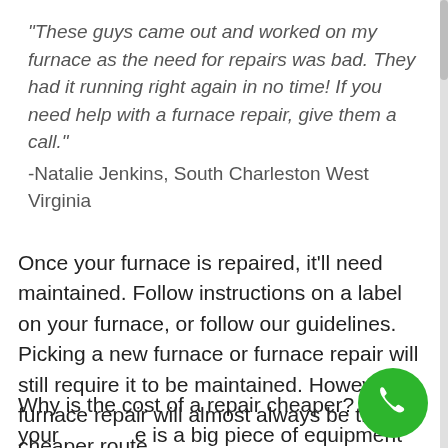“These guys came out and worked on my furnace as the need for repairs was bad. They had it running right again in no time! If you need help with a furnace repair, give them a call.” -Natalie Jenkins, South Charleston West Virginia
Once your furnace is repaired, it’ll need maintained. Follow instructions on a label on your furnace, or follow our guidelines. Picking a new furnace or furnace repair will still require it to be maintained. However, furnace repair will almost always be the cheaper route.
Why is the cost of a repair cheaper? Well, your furnace is a big piece of equipment meaning they’re
[Figure (other): Green circular phone/call button icon in bottom right corner]